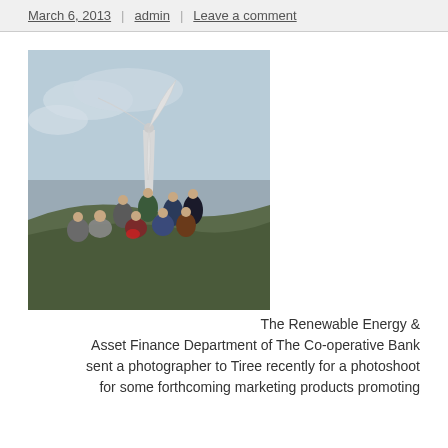March 6, 2013 | admin | Leave a comment
[Figure (photo): Group of people standing and sitting on a hillside in front of a large wind turbine against a cloudy sky]
The Renewable Energy & Asset Finance Department of The Co-operative Bank sent a photographer to Tiree recently for a photoshoot for some forthcoming marketing products promoting